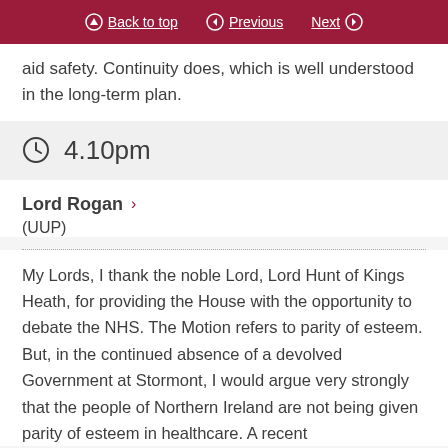Back to top | Previous | Next
aid safety. Continuity does, which is well understood in the long-term plan.
4.10pm
Lord Rogan > (UUP)
My Lords, I thank the noble Lord, Lord Hunt of Kings Heath, for providing the House with the opportunity to debate the NHS. The Motion refers to parity of esteem. But, in the continued absence of a devolved Government at Stormont, I would argue very strongly that the people of Northern Ireland are not being given parity of esteem in healthcare. A recent